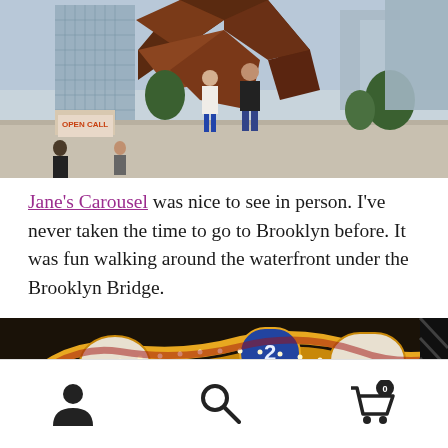[Figure (photo): Outdoor plaza with a large abstract copper/bronze sculptural structure (The Vessel, Hudson Yards, NYC). People walking in the foreground, modern glass buildings in background. Sign on left reads 'OPEN CALL'.]
Jane's Carousel was nice to see in person. I've never taken the time to go to Brooklyn before. It was fun walking around the waterfront under the Brooklyn Bridge.
[Figure (photo): Close-up of Jane's Carousel in Brooklyn — ornate gold and red carousel canopy with decorative panels and lights, partially cropped.]
Navigation footer with user profile icon, search icon, and shopping cart icon with badge showing 0